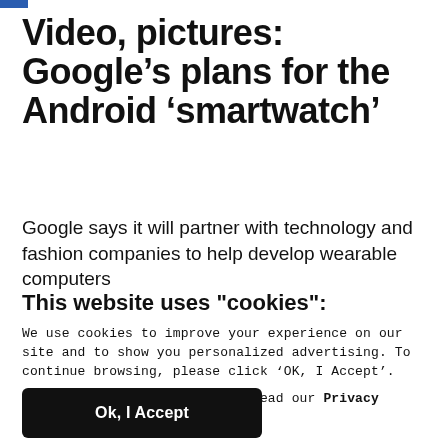Video, pictures: Google’s plans for the Android ‘smartwatch’
Google says it will partner with technology and fashion companies to help develop wearable computers
This website uses "cookies":
We use cookies to improve your experience on our site and to show you personalized advertising. To continue browsing, please click ‘OK, I Accept’.
For more information, please read our Privacy Policy
Ok, I Accept